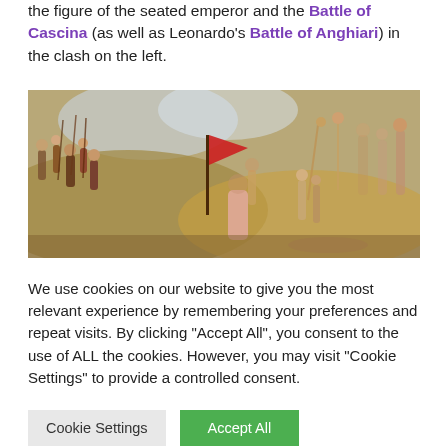the figure of the seated emperor and the Battle of Cascina (as well as Leonardo's Battle of Anghiari) in the clash on the left.
[Figure (photo): A Renaissance-style painting depicting a battle scene with many figures. On the left, soldiers and figures in combat on a hillside with clouds above. In the center, a large red flag. On the right, nude figures in dramatic poses including crucifixion-like positions. A young figure in pink garment is prominent in the foreground center-right.]
We use cookies on our website to give you the most relevant experience by remembering your preferences and repeat visits. By clicking "Accept All", you consent to the use of ALL the cookies. However, you may visit "Cookie Settings" to provide a controlled consent.
Cookie Settings | Accept All